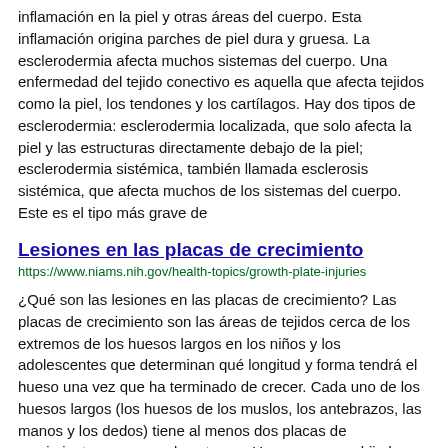inflamación en la piel y otras áreas del cuerpo. Esta inflamación origina parches de piel dura y gruesa. La esclerodermia afecta muchos sistemas del cuerpo. Una enfermedad del tejido conectivo es aquella que afecta tejidos como la piel, los tendones y los cartílagos. Hay dos tipos de esclerodermia: esclerodermia localizada, que solo afecta la piel y las estructuras directamente debajo de la piel; esclerodermia sistémica, también llamada esclerosis sistémica, que afecta muchos de los sistemas del cuerpo. Este es el tipo más grave de
Lesiones en las placas de crecimiento
https://www.niams.nih.gov/health-topics/growth-plate-injuries
¿Qué son las lesiones en las placas de crecimiento? Las placas de crecimiento son las áreas de tejidos cerca de los extremos de los huesos largos en los niños y los adolescentes que determinan qué longitud y forma tendrá el hueso una vez que ha terminado de crecer. Cada uno de los huesos largos (los huesos de los muslos, los antebrazos, las manos y los dedos) tiene al menos dos placas de crecimiento, una en cada extremo. Una vez que su hijo haya terminado de crecer, las placas de crecimiento se cierran y son reemplazadas por hueso sólido. Debido a
Osteoporosis